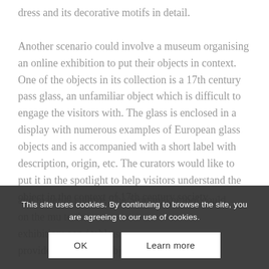dress and its decorative motifs in detail.

Another scenario could involve a museum organising an online exhibition to put their objects in context. One of the objects in its collection is a 17th century pass glass, an unfamiliar object which is difficult to engage the visitors with. The glass is enclosed in a display with numerous examples of European glass objects and is accompanied with a short label with description, origin, etc. The curators would like to put it in the spotlight to help visitors understand the object in the context of 17th century society and material culture. The Storymaker tool could on the mu... to the exhibition, a... en / tablets provided next to the object.
This site uses cookies. By continuing to browse the site, you are agreeing to our use of cookies.